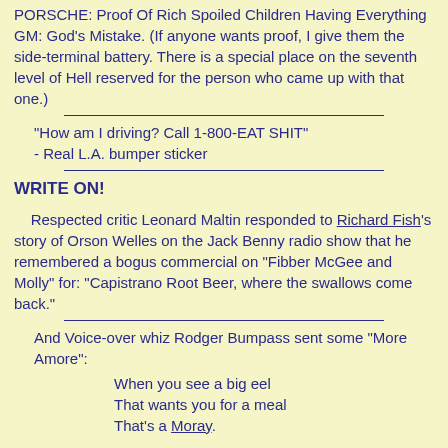PORSCHE: Proof Of Rich Spoiled Children Having Everything GM: God's Mistake. (If anyone wants proof, I give them the side-terminal battery. There is a special place on the seventh level of Hell reserved for the person who came up with that one.)
"How am I driving? Call 1-800-EAT SHIT" - Real L.A. bumper sticker
WRITE ON!
Respected critic Leonard Maltin responded to Richard Fish's story of Orson Welles on the Jack Benny radio show that he remembered a bogus commercial on "Fibber McGee and Molly" for: "Capistrano Root Beer, where the swallows come back."
And Voice-over whiz Rodger Bumpass sent some "More Amore":
When you see a big eel
That wants you for a meal
That's a Moray.

When you do what you do
Just like everyone, too,
That's a 'More'.

When Canadians sing,
"There's additional things",
That's 'some more, eh?'
To which the equally shameless Paul "Barstow 2008" Willson added: